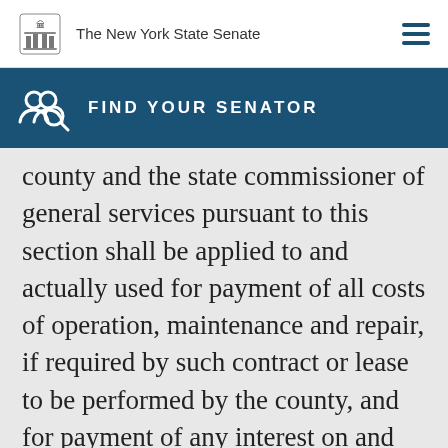The New York State Senate
FIND YOUR SENATOR
county and the state commissioner of general services pursuant to this section shall be applied to and actually used for payment of all costs of operation, maintenance and repair, if required by such contract or lease to be performed by the county, and for payment of any interest on and amortization of or redemption of any county obligations issued pursuant to paragraph (l) of subdivision